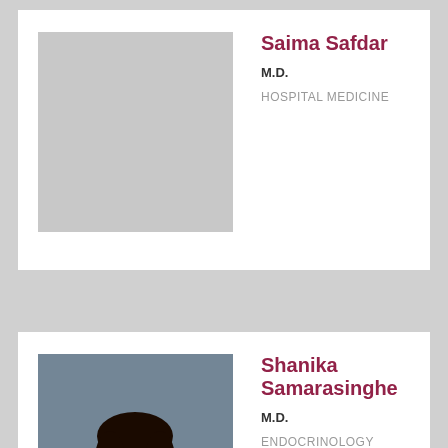[Figure (photo): Placeholder photo for Saima Safdar, gray rectangle]
Saima Safdar
M.D.
HOSPITAL MEDICINE
[Figure (photo): Professional headshot of Shanika Samarasinghe, a woman in a gray blazer against a blue-gray background]
Shanika Samarasinghe
M.D.
ENDOCRINOLOGY